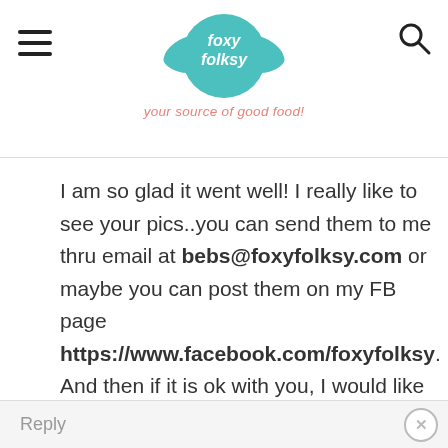Foxy Folksy — your source of good food!
I am so glad it went well! I really like to see your pics..you can send them to me thru email at bebs@foxyfolksy.com or maybe you can post them on my FB page https://www.facebook.com/foxyfolksy. And then if it is ok with you, I would like to attach it here in my blog.. 🙂